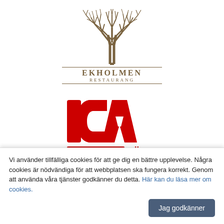[Figure (logo): Ekholmen Restaurang logo with oak tree illustration above text EKHOLMEN RESTAURANG]
[Figure (logo): ICA nära logo in red with large ICA letters and 'nära' text with red bar]
Vessige
Vi använder tillfälliga cookies för att ge dig en bättre upplevelse. Några cookies är nödvändiga för att webbplatsen ska fungera korrekt. Genom att använda våra tjänster godkänner du detta. Här kan du läsa mer om cookies.
Jag godkänner